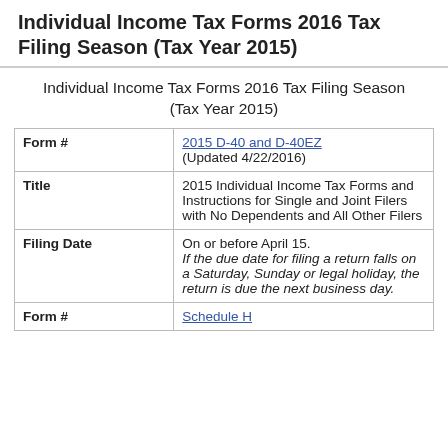Individual Income Tax Forms 2016 Tax Filing Season (Tax Year 2015)
Individual Income Tax Forms 2016 Tax Filing Season (Tax Year 2015)
| Form # | Value |
| --- | --- |
| Form # | 2015 D-40 and D-40EZ
(Updated 4/22/2016) |
| Title | 2015 Individual Income Tax Forms and Instructions for Single and Joint Filers with No Dependents and All Other Filers |
| Filing Date | On or before April 15.
If the due date for filing a return falls on a Saturday, Sunday or legal holiday, the return is due the next business day. |
| Form # | Schedule H |